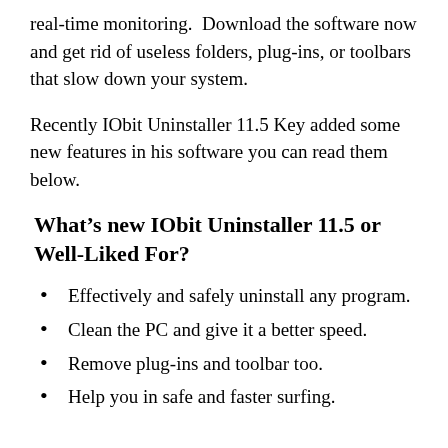real-time monitoring.  Download the software now and get rid of useless folders, plug-ins, or toolbars that slow down your system.
Recently IObit Uninstaller 11.5 Key added some new features in his software you can read them below.
What’s new IObit Uninstaller 11.5 or Well-Liked For?
Effectively and safely uninstall any program.
Clean the PC and give it a better speed.
Remove plug-ins and toolbar too.
Help you in safe and faster surfing.